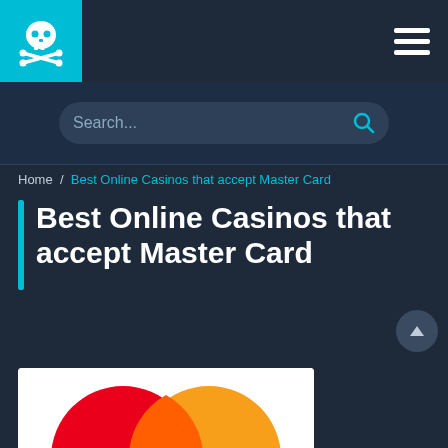Navigation header with skull logo and hamburger menu
Search...
Home / Best Online Casinos that accept Master Card
Best Online Casinos that accept Master Card
[Figure (logo): MasterCard logo with red and orange overlapping circles and white MasterCard text]